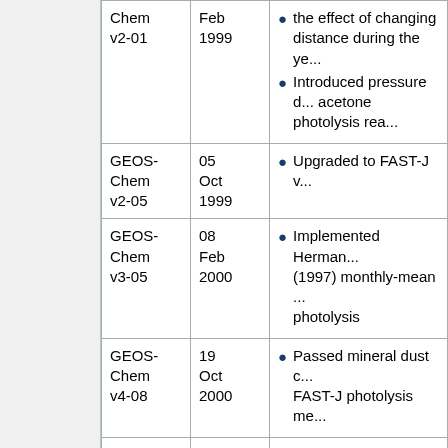| Version | Date | Notes |
| --- | --- | --- |
| GEOS-Chem v2-01 | Feb 1999 | the effect of changing distance during the ye...
Introduced pressure d... acetone photolysis rea... |
| GEOS-Chem v2-05 | 05 Oct 1999 | Upgraded to FAST-J v... |
| GEOS-Chem v3-05 | 08 Feb 2000 | Implemented Herman... (1997) monthly-mean ... photolysis |
| GEOS-Chem v4-08 | 19 Oct 2000 | Passed mineral dust c... FAST-J photolysis me... |
| GEOS-Chem v4-22 | 15 Nov 2001 | Added heterogeneous... 7 FAST-J mineral dust... |
| GEOS- | 26 | Added optical depths t... |